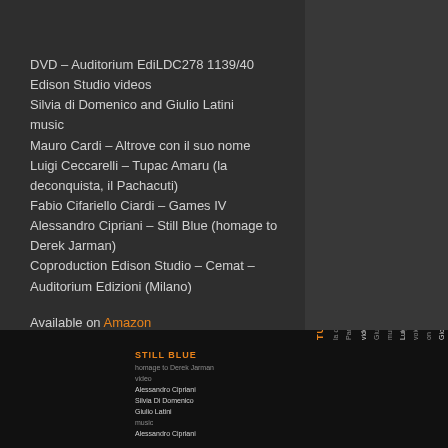hamburger menu icon
DVD – Auditorium EdiLDC278 1139/40
Edison Studio videos
Silvia di Domenico and Giulio Latini music
Mauro Cardi – Altrove con il suo nome
Luigi Ceccarelli – Tupac Amaru (la deconquista, il Pachacuti)
Fabio Cifariello Ciardi – Games IV
Alessandro Cipriani – Still Blue (homage to Derek Jarman)
Coproduction Edison Studio – Cemat – Auditorium Edizioni (Milano)
Available on Amazon
[Figure (photo): DVD cover/screen capture showing credits for 'Still Blue – homage to Derek Jarman' and 'Tupac Amaru – la deconquista, il Pachacuti' on dark background with orange text]